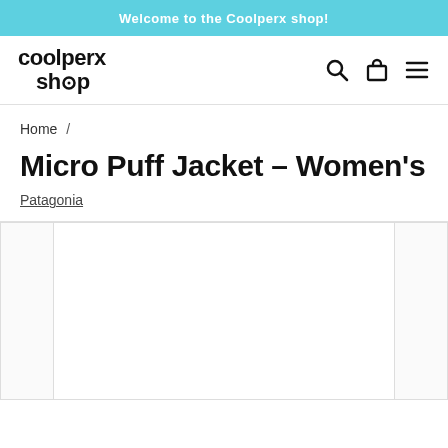Welcome to the Coolperx shop!
[Figure (logo): Coolperx shop logo with stylized text]
Home /
Micro Puff Jacket - Women's
Patagonia
[Figure (photo): Product image carousel area showing three panels - left partial, center main, right partial - all white/blank]